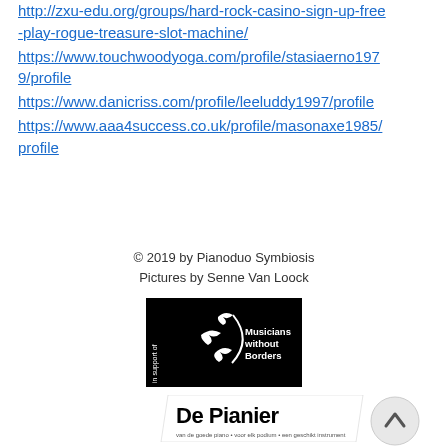http://zxu-edu.org/groups/hard-rock-casino-sign-up-free-play-rogue-treasure-slot-machine/ https://www.touchwoodyoga.com/profile/stasiaerno1979/profile https://www.danicriss.com/profile/leeluddy1997/profile https://www.aaa4success.co.uk/profile/masonaxe1985/profile
© 2019 by Pianoduo Symbiosis
Pictures by Senne Van Loock
[Figure (logo): Musicians without Borders logo - black rectangle with bird/swallow graphics and text 'in support of Musicians without Borders']
[Figure (logo): De Pianier logo - black text on white background with tagline in Dutch]